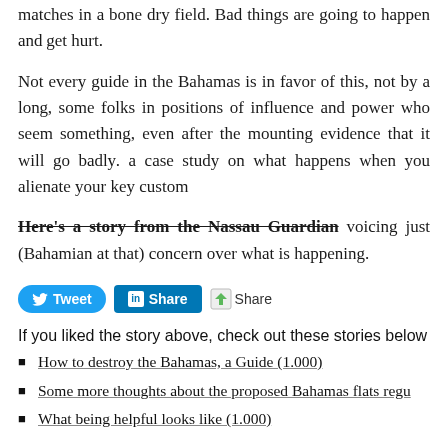matches in a bone dry field. Bad things are going to happen and people are going to get hurt.
Not every guide in the Bahamas is in favor of this, not by a long shot. But there are some folks in positions of influence and power who seem determined to push this something, even after the mounting evidence that it will go badly. The Bahamas is becoming a case study on what happens when you alienate your key customers.
Here's a story from the Nassau Guardian voicing just (Bahamian at that) concern over what is happening.
[Figure (infographic): Social sharing buttons: Tweet (Twitter/blue), Share (LinkedIn/blue), Share (green icon)]
If you liked the story above, check out these stories below
How to destroy the Bahamas, a Guide (1.000)
Some more thoughts about the proposed Bahamas flats regu
What being helpful looks like (1.000)